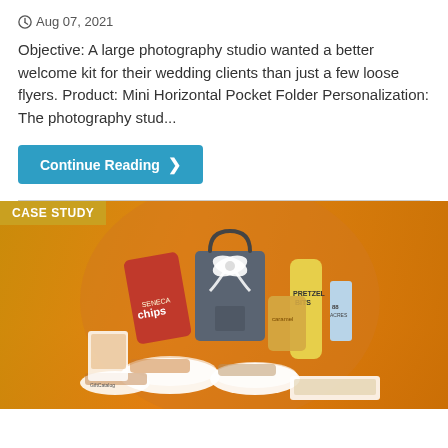Aug 07, 2021
Objective: A large photography studio wanted a better welcome kit for their wedding clients than just a few loose flyers. Product: Mini Horizontal Pocket Folder Personalization: The photography stud...
Continue Reading ❯
[Figure (photo): Case study banner image showing a promotional gift set with branded lunch bag tied with white bow ribbon, surrounded by snack products including chips, pretzels, popcorn, and assorted snacks in white bowls, set against an orange gradient background with 'CASE STUDY' label in gold banner top left.]